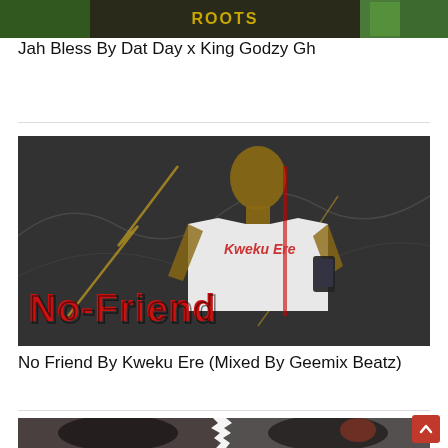[Figure (photo): Top cropped portion of a music promotional image for 'Jah Bless By Dat Day x King Godzy Gh']
Jah Bless By Dat Day x King Godzy Gh
[Figure (photo): Music promotional artwork for 'No Friend' by Kweku Ere. Shows a young man in a white t-shirt against a dark textured background. Text on image reads 'Kweku Ere' and 'No-Friend' in large red and black letters.]
No Friend By Kweku Ere (Mixed By Geemix Beatz)
[Figure (photo): Bottom cropped portion of another music promotional image, showing two people with dreadlocks.]